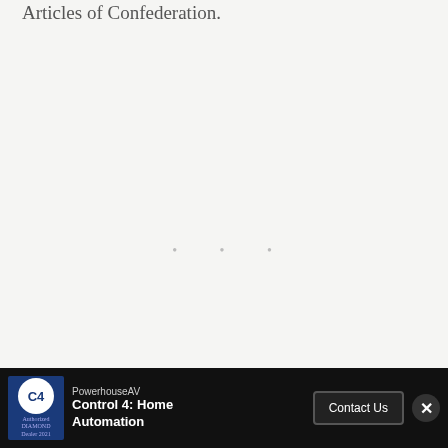Articles of Confederation.
[Figure (other): Large blank/empty area with three faint gray dots arranged horizontally in the center, likely a loading placeholder or image that did not render.]
The American Constitution was adopted in 1789, re... ...ently Th...